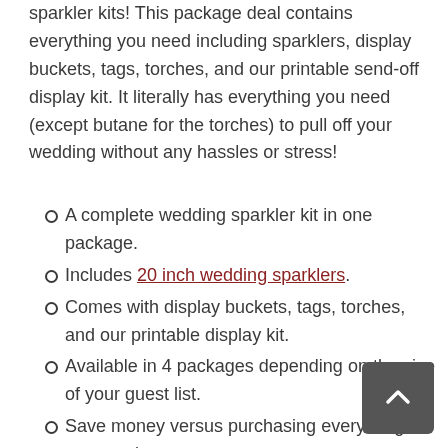sparkler kits! This package deal contains everything you need including sparklers, display buckets, tags, torches, and our printable send-off display kit. It literally has everything you need (except butane for the torches) to pull off your wedding without any hassles or stress!
A complete wedding sparkler kit in one package.
Includes 20 inch wedding sparklers.
Comes with display buckets, tags, torches, and our printable display kit.
Available in 4 packages depending on the size of your guest list.
Save money versus purchasing everything separately.